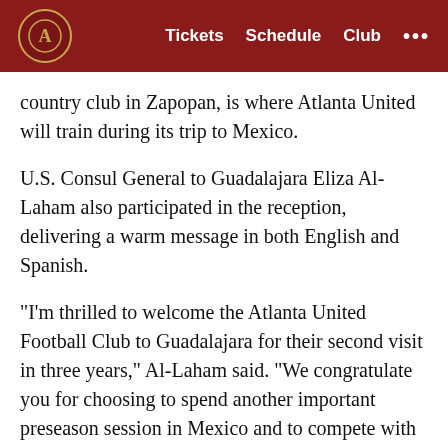Atlanta United FC — Tickets  Schedule  Club  •••
country club in Zapopan, is where Atlanta United will train during its trip to Mexico.
U.S. Consul General to Guadalajara Eliza Al-Laham also participated in the reception, delivering a warm message in both English and Spanish.
“I’m thrilled to welcome the Atlanta United Football Club to Guadalajara for their second visit in three years,” Al-Laham said. “We congratulate you for choosing to spend another important preseason session in Mexico and to compete with Mexican teams. We are excited about the opportunities that will spring from this visit as well as the deepening relationships between U.S. and